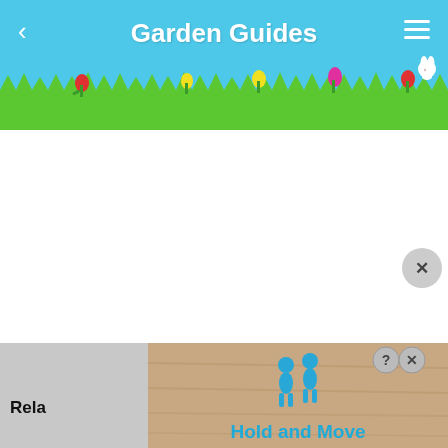Garden Guides
[Figure (screenshot): Garden Guides app header with sky blue background, grass silhouette with flowers (red, yellow, pink tulips) and a white bunny icon. Back arrow on left, hamburger menu on right.]
[Figure (screenshot): Advertisement banner showing a wooden board background with two blue 3D figures and text 'Hold and Move'. Has a question mark and X close button in top right.]
Rela